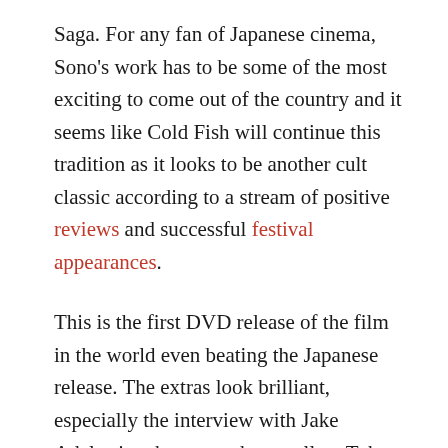Saga. For any fan of Japanese cinema, Sono's work has to be some of the most exciting to come out of the country and it seems like Cold Fish will continue this tradition as it looks to be another cult classic according to a stream of positive reviews and successful festival appearances.
This is the first DVD release of the film in the world even beating the Japanese release. The extras look brilliant, especially the interview with Jake Adelstein who wrote the excellent Tokyo Vice, so if you have any taste for provocative Japanese films go and buy this.
Cold fish can be pre-ordered from Amazon.